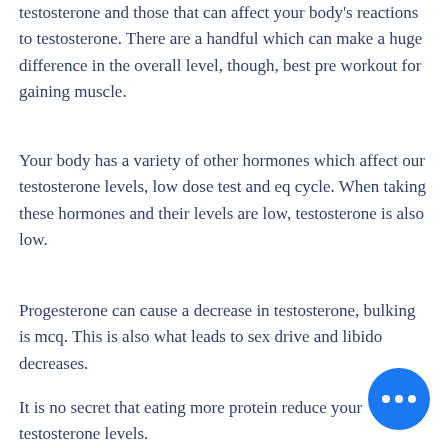testosterone and those that can affect your body's reactions to testosterone. There are a handful which can make a huge difference in the overall level, though, best pre workout for gaining muscle.
Your body has a variety of other hormones which affect our testosterone levels, low dose test and eq cycle. When taking these hormones and their levels are low, testosterone is also low.
Progesterone can cause a decrease in testosterone, bulking is mcq. This is also what leads to sex drive and libido decreases.
It is no secret that eating more protein reduce your testosterone levels.